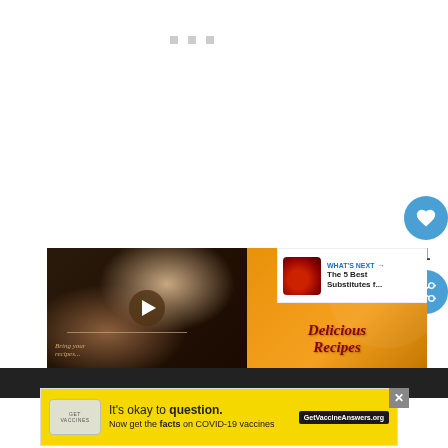[Figure (screenshot): White area with three small gray square dots near top]
[Figure (screenshot): Floating blue circle heart/like button with count 1 and share button]
1
[Figure (screenshot): Video player with food/chopsticks on left half and orange 'Delicious Recipes' panel on right with What's Next overlay showing chili image and 'The 5 Best Substitutes f...']
[Figure (screenshot): Dark bottom bar with wavy W logo]
[Figure (screenshot): Yellow advertisement banner: It's okay to question. Now get the facts on COVID-19 vaccines. GetVaccineAnswers.org]